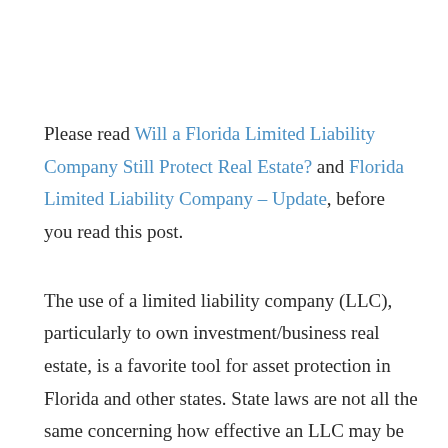Please read Will a Florida Limited Liability Company Still Protect Real Estate? and Florida Limited Liability Company – Update, before you read this post.
The use of a limited liability company (LLC), particularly to own investment/business real estate, is a favorite tool for asset protection in Florida and other states. State laws are not all the same concerning how effective an LLC may be